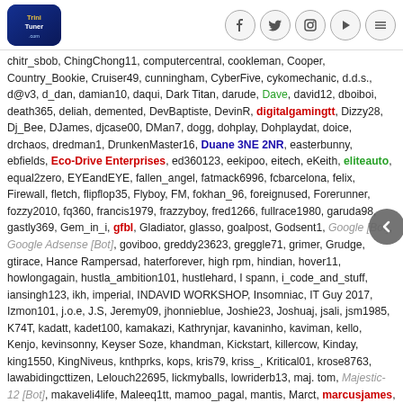TriniTuner.com - social media icons and navigation
chitr_sbob, ChingChong11, computercentral, cookleman, Cooper, Country_Bookie, Cruiser49, cunningham, CyberFive, cykomechanic, d.d.s., d@v3, d_dan, damian10, daqui, Dark Titan, darude, Dave, david12, dboiboi, death365, deliah, demented, DevBaptiste, DevinR, digitalgamingtt, Dizzy28, Dj_Bee, DJames, djcase00, DMan7, dogg, dohplay, Dohplaydat, doice, drchaos, dredman1, DrunkenMaster16, Duane 3NE 2NR, easterbunny, ebfields, Eco-Drive Enterprises, ed360123, eekipoo, eitech, eKeith, eliteauto, equal2zero, EYEandEYE, fallen_angel, fatmack6996, fcbarcelona, felix, Firewall, fletch, flipflop35, Flyboy, FM, fokhan_96, foreignused, Forerunner, fozzy2010, fq360, francis1979, frazzyboy, fred1266, fullrace1980, garuda98, gastly369, Gem_in_i, gfbl, Gladiator, glasso, goalpost, Godsent1, Google [Bot], Google Adsense [Bot], goviboo, greddy23623, greggle71, grimer, Grudge, gtirace, Hance Rampersad, haterforever, high rpm, hindian, hover11, howlongagain, hustla_ambition101, hustlehard, I spann, i_code_and_stuff, iansingh123, ikh, imperial, INDAVID WORKSHOP, Insomniac, IT Guy 2017, Izmon101, j.o.e, J.S, Jeremy09, jhonnieblue, Joshie23, Joshuaj, jsali, jsm1985, K74T, kadatt, kadet100, kamakazi, Kathrynjar, kavaninho, kaviman, kello, Kenjo, kevinsonny, Keyser Soze, khandman, Kickstart, killercow, Kinday, king1550, KingNiveus, knthprks, kops, kris79, kriss_, Kritical01, krose8763, lawabidingcttizen, Lelouch22695, lickmyballs, lowriderb13, maj. tom, Majestic-12 [Bot], makaveli4life, Maleeq1tt, mamoo_pagal, mantis, Marct, marcusjames, Marlon…, matix, matr1x, MaxPower, mckenzie, MDtuner70, Mercenary, mero, metalgear2095, migzsk, militant, mitsutt, mojosodope, Mr.Blessed, Mr.Bollywood, msg1, mtec, Muffy, Musical Doc, nemisis, nervewrecker, nicholaz53, nick39able, nick5434, nick639v2, nightcrawler745, Nik, nismodriver, Nissan_Man13, NOVAspeed1, NR8, Numb3r4, ob1, OPERATORJOE, orgazmatron, OriginalR, paid_influencer, PapaC, PariaMan, pete, Phone Surgeon,